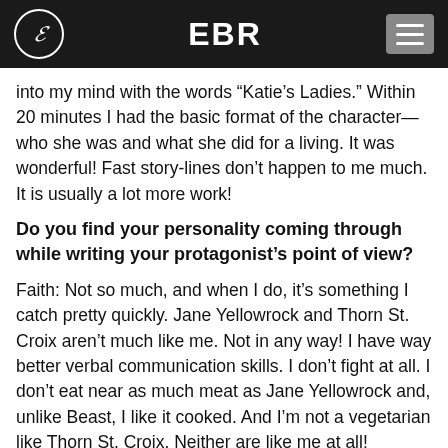EBR
into my mind with the words “Katie’s Ladies.” Within 20 minutes I had the basic format of the character—who she was and what she did for a living. It was wonderful! Fast story-lines don’t happen to me much. It is usually a lot more work!
Do you find your personality coming through while writing your protagonist’s point of view?
Faith: Not so much, and when I do, it’s something I catch pretty quickly. Jane Yellowrock and Thorn St. Croix aren’t much like me. Not in any way! I have way better verbal communication skills. I don’t fight at all. I don’t eat near as much meat as Jane Yellowrock and, unlike Beast, I like it cooked. And I’m not a vegetarian like Thorn St. Croix. Neither are like me at all!